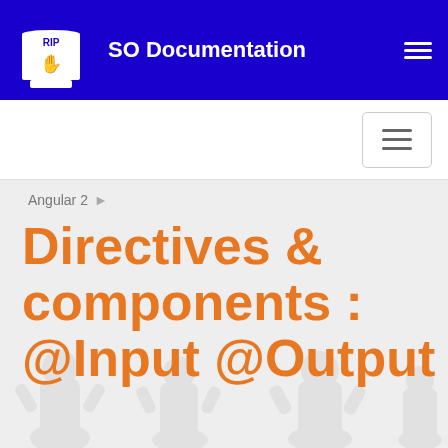SO Documentation
Angular 2 >
Directives & components : @Input @Output